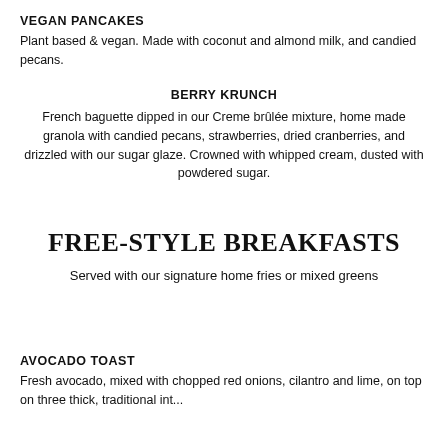VEGAN PANCAKES
Plant based & vegan. Made with coconut and almond milk, and candied pecans.
BERRY KRUNCH
French baguette dipped in our Creme brûlée mixture, home made granola with candied pecans, strawberries, dried cranberries, and drizzled with our sugar glaze. Crowned with whipped cream, dusted with powdered sugar.
FREE-STYLE BREAKFASTS
Served with our signature home fries or mixed greens
AVOCADO TOAST
Fresh avocado, mixed with chopped red onions, cilantro and lime, on top on three thick, traditional int...